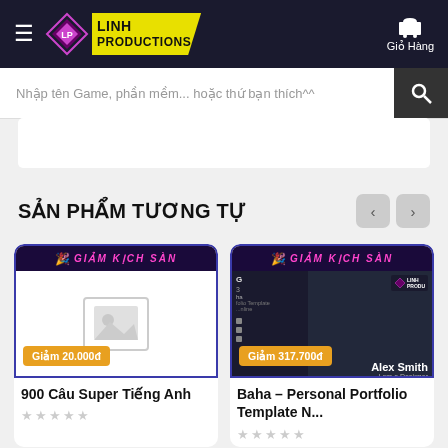Linh Productions - Giỏ Hàng
Nhập tên Game, phần mềm... hoặc thứ bạn thích^^
SẢN PHẨM TƯƠNG TỰ
[Figure (screenshot): Product card 1: placeholder image with GIẢM KỊCH SÀN banner, discount badge Giảm 20.000đ]
900 Câu Super Tiếng Anh
[Figure (screenshot): Product card 2: Baha Personal Portfolio Template screenshot with GIẢM KỊCH SÀN banner, discount badge Giảm 317.700đ]
Baha – Personal Portfolio Template N...